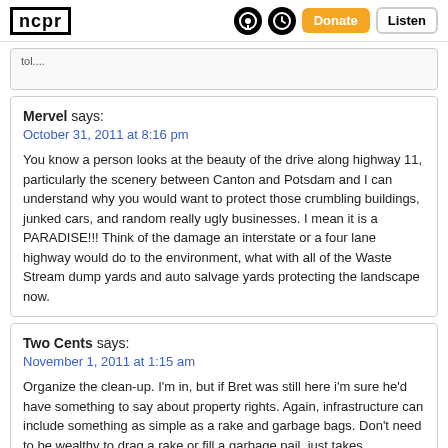ncpr | Donate | Listen
tol....
Mervel says:
October 31, 2011 at 8:16 pm

You know a person looks at the beauty of the drive along highway 11, particularly the scenery between Canton and Potsdam and I can understand why you would want to protect those crumbling buildings, junked cars, and random really ugly businesses. I mean it is a PARADISE!!! Think of the damage an interstate or a four lane highway would do to the environment, what with all of the Waste Stream dump yards and auto salvage yards protecting the landscape now.
Two Cents says:
November 1, 2011 at 1:15 am

Organize the clean-up. I'm in, but if Bret was still here i'm sure he'd have something to say about property rights. Again, infrastructure can include something as simple as a rake and garbage bags. Don't need to be wealthy to drag a rake or fill a garbage pail, just takes